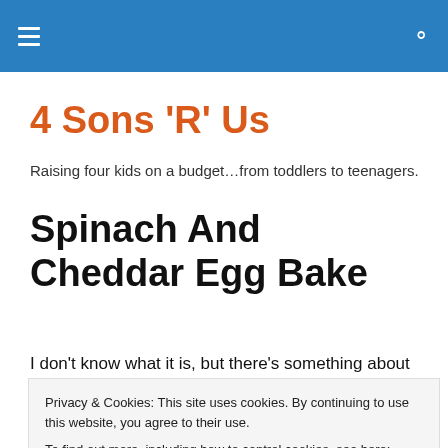4 Sons 'R' Us — navigation menu and search
4 Sons 'R' Us
Raising four kids on a budget…from toddlers to teenagers.
Spinach And Cheddar Egg Bake
I don't know what it is, but there's something about
Privacy & Cookies: This site uses cookies. By continuing to use this website, you agree to their use.
To find out more, including how to control cookies, see here: Cookie Policy
have to be the bad man out. I like breakfast as much as